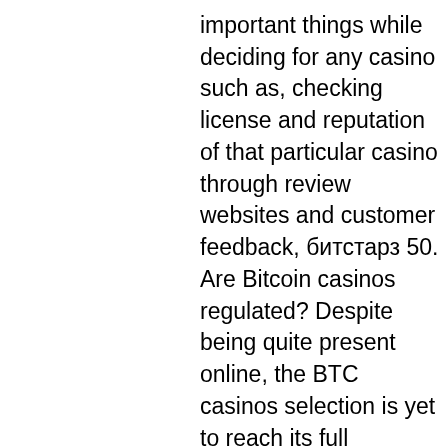important things while deciding for any casino such as, checking license and reputation of that particular casino through review websites and customer feedback, битстарз 50. Are Bitcoin casinos regulated? Despite being quite present online, the BTC casinos selection is yet to reach its full potential. Bitcoin is still a young money management system and one that has nothing to do with real banks and conventional financial proceedings, bitstarz bono sin depósito code 2021. It is as-is bonus that you can start using without committing your own funds, bitstarz deposit bonus codes for existing users. However, bear in mind that winnings from such bonuses still would not be withdrawable until the casino's terms and conditions concerning wagering is met. Apart from our vast selection of Doge Casino games, we also have a unique experience system for our